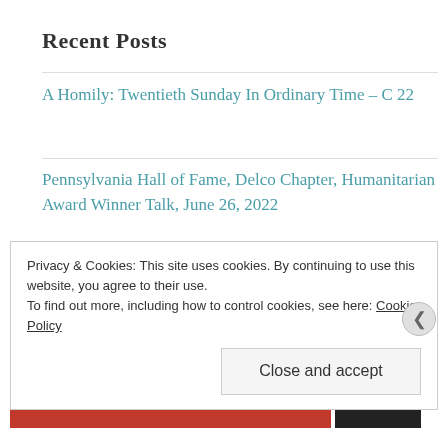Recent Posts
A Homily: Twentieth Sunday In Ordinary Time – C 22
Pennsylvania Hall of Fame, Delco Chapter, Humanitarian Award Winner Talk, June 26, 2022
I Must Speak Up
Vocation Prayer
Privacy & Cookies: This site uses cookies. By continuing to use this website, you agree to their use.
To find out more, including how to control cookies, see here: Cookie Policy
Close and accept